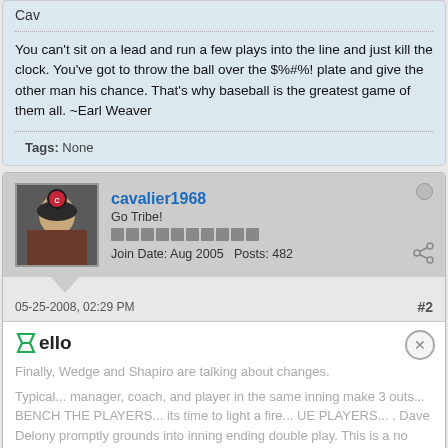Cav
You can't sit on a lead and run a few plays into the line and just kill the clock. You've got to throw the ball over the $%#%! plate and give the other man his chance. That's why baseball is the greatest game of them all. ~Earl Weaver
Tags: None
cavalier1968
Go Tribe!
Join Date: Aug 2005   Posts: 482
05-25-2008, 02:29 PM
#2
Hello
Finally, Wedge and Shapiro are talking about changes.
Typical... manager, coach, and player in the same inning make 3 outs... BENCH THE PLAYERS... its time to light a fire... Dave Delony promptly grounds into inning ending double play. This is a no hitting, no hit/rimental team with a man...sional h... resses...
[Figure (screenshot): Advertisement banner for Disney Bundle showing Hulu, Disney+, ESPN+ logos with GET THE DISNEY BUNDLE CTA button and fine print]